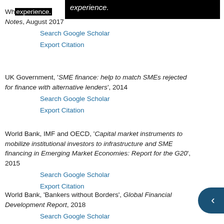experience.
Wh…
Notes, August 2017
Search Google Scholar | Export Citation
UK Government, 'SME finance: help to match SMEs rejected for finance with alternative lenders', 2014
Search Google Scholar | Export Citation
World Bank, IMF and OECD, 'Capital market instruments to mobilize institutional investors to infrastructure and SME financing in Emerging Market Economies: Report for the G20', 2015
Search Google Scholar | Export Citation
World Bank, 'Bankers without Borders', Global Financial Development Report, 2018
Search Google Scholar | Export Citation